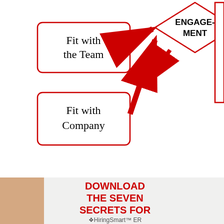[Figure (flowchart): Flowchart showing 'Fit with the Team' and 'Fit with Company' boxes with red arrows pointing to ENGAGEMENT diamond, which has a large red arrow pointing right toward partially visible outcome box with text 'Produ... Custo... Satisf... Pr...']
[Figure (infographic): Advertisement banner: 'DOWNLOAD THE SEVEN SECRETS FOR HiringSmart ER' with image of person whispering/listening on left and a man looking up on right against dark background]